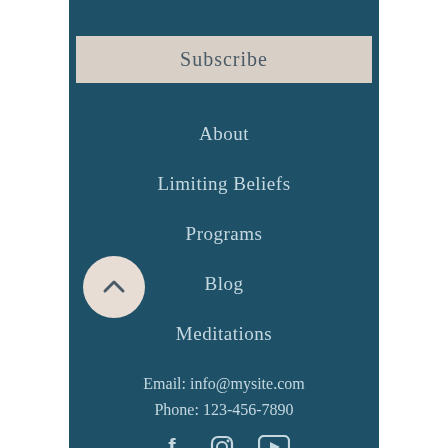Subscribe
About
Limiting Beliefs
Programs
Blog
Meditations
Email: info@mysite.com
Phone: 123-456-7890
[Figure (infographic): Social media icons: Facebook, Instagram, YouTube]